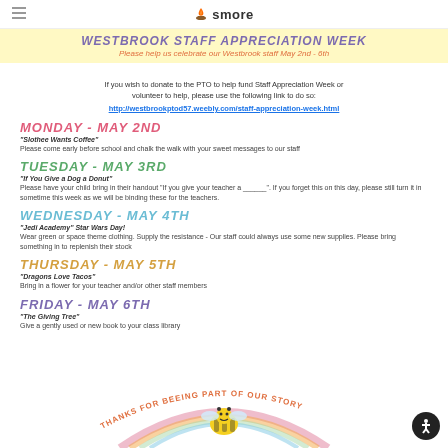smore
WESTBROOK STAFF APPRECIATION WEEK
Please help us celebrate our Westbrook staff May 2nd - 6th
If you wish to donate to the PTO to help fund Staff Appreciation Week or volunteer to help, please use the following link to do so: http://westbrookptod57.weebly.com/staff-appreciation-week.html
MONDAY - MAY 2ND
"Slothee Wants Coffee"
Please come early before school and chalk the walk with your sweet messages to our staff
TUESDAY - MAY 3RD
"If You Give a Dog a Donut"
Please have your child bring in their handout "If you give your teacher a ______". If you forget this on this day, please still turn it in sometime this week as we will be binding these for the teachers.
WEDNESDAY - MAY 4TH
"Jedi Academy" Star Wars Day!
Wear green or space theme clothing. Supply the resistance - Our staff could always use some new supplies. Please bring something in to replenish their stock
THURSDAY - MAY 5TH
"Dragons Love Tacos"
Bring in a flower for your teacher and/or other staff members
FRIDAY - MAY 6TH
"The Giving Tree"
Give a gently used or new book to your class library
[Figure (illustration): Circular bee illustration with text 'THANKS FOR BEEING PART OF OUR STORY' arranged in a circle around a smiling bee with rainbow]